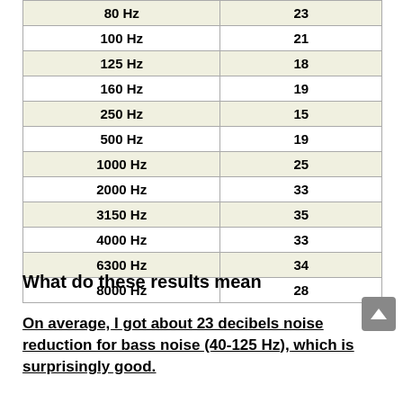| Frequency | Value |
| --- | --- |
| 80 Hz | 23 |
| 100 Hz | 21 |
| 125 Hz | 18 |
| 160 Hz | 19 |
| 250 Hz | 15 |
| 500 Hz | 19 |
| 1000 Hz | 25 |
| 2000 Hz | 33 |
| 3150 Hz | 35 |
| 4000 Hz | 33 |
| 6300 Hz | 34 |
| 8000 Hz | 28 |
What do these results mean
On average, I got about 23 decibels noise reduction for bass noise (40-125 Hz), which is surprisingly good.